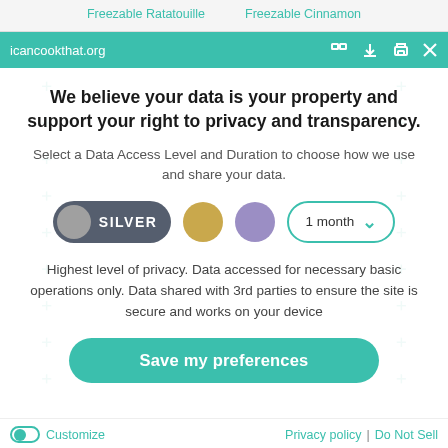Freezable Ratatouille   Freezable Cinnamon
icancookthat.org
We believe your data is your property and support your right to privacy and transparency.
Select a Data Access Level and Duration to choose how we use and share your data.
[Figure (infographic): Data access level selector with Silver toggle active, gold and purple option dots, and a 1 month duration dropdown]
Highest level of privacy. Data accessed for necessary basic operations only. Data shared with 3rd parties to ensure the site is secure and works on your device
Save my preferences
Customize   Privacy policy  |  Do Not Sell